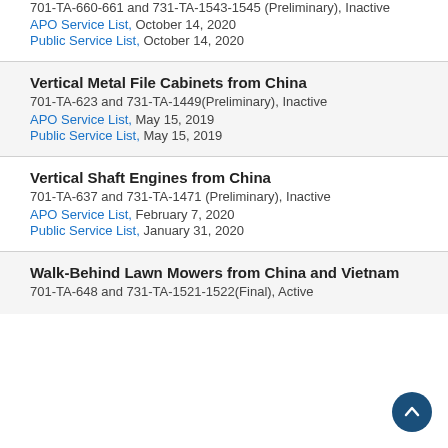701-TA-660-661 and 731-TA-1543-1545 (Preliminary), Inactive
APO Service List,  October 14, 2020
Public Service List,  October 14, 2020
Vertical Metal File Cabinets from China
701-TA-623 and 731-TA-1449(Preliminary), Inactive
APO Service List,  May 15, 2019
Public Service List,  May 15, 2019
Vertical Shaft Engines from China
701-TA-637 and 731-TA-1471 (Preliminary), Inactive
APO Service List,  February 7, 2020
Public Service List,  January 31, 2020
Walk-Behind Lawn Mowers from China and Vietnam
701-TA-648 and 731-TA-1521-1522(Final), Active